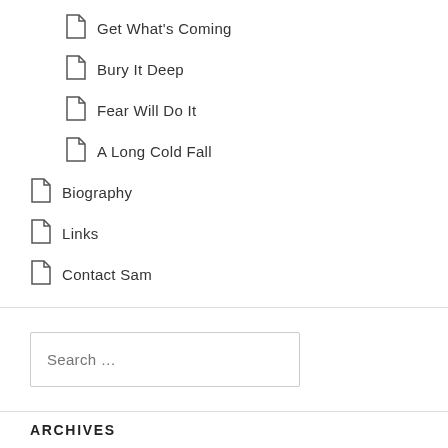Get What's Coming
Bury It Deep
Fear Will Do It
A Long Cold Fall
Biography
Links
Contact Sam
Search …
ARCHIVES